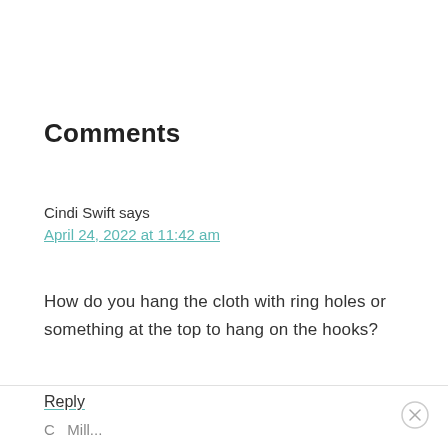Comments
Cindi Swift says
April 24, 2022 at 11:42 am
How do you hang the cloth with ring holes or something at the top to hang on the hooks?
Reply